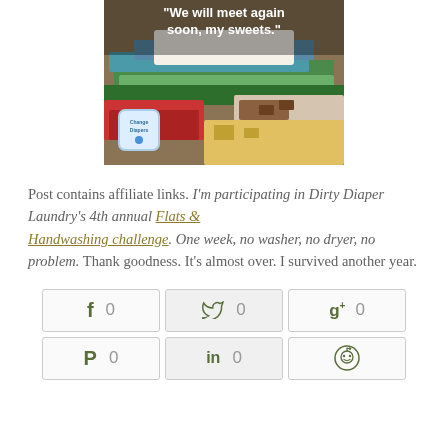[Figure (photo): Stack of colorful cloth diapers/flats piled up, with text overlay 'We will meet again soon, my sweets.' and a Change Diapers logo badge in the bottom left corner.]
Post contains affiliate links. I'm participating in Dirty Diaper Laundry's 4th annual Flats & Handwashing challenge. One week, no washer, no dryer, no problem. Thank goodness. It's almost over. I survived another year.
[Figure (infographic): Social sharing buttons row 1: Facebook (f) count 0, Twitter (bird) count 0, Google+ (g+) count 0. Row 2: Pinterest (P) count 0, LinkedIn (in) count 0, Reddit icon.]